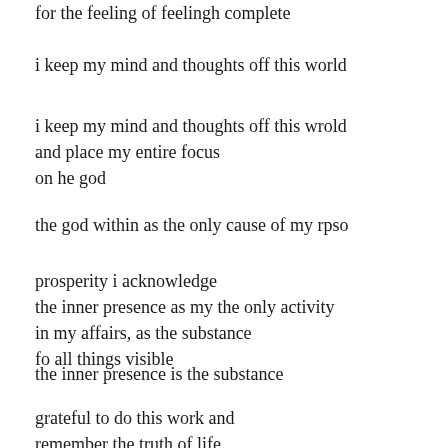for the feeling of feelingh complete
i keep my mind and thoughts off this world
i keep my mind and thoughts off this wrold
and place my entire focus
on he god
the god within as the only cause of my rpso
prosperity i acknowledge
the inner presence as my the only activity
in my affairs, as the substance
fo all things visible
the inner presence is the substance
grateful to do this work and
remember the truth of life